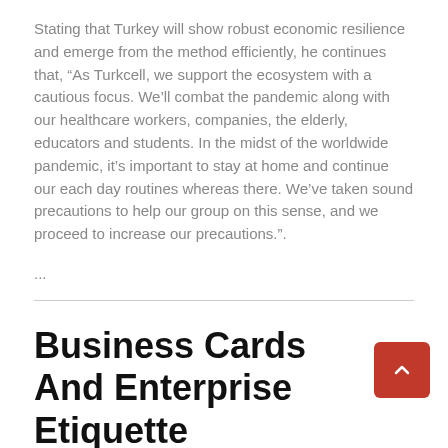Stating that Turkey will show robust economic resilience and emerge from the method efficiently, he continues that, “As Turkcell, we support the ecosystem with a cautious focus. We’ll combat the pandemic along with our healthcare workers, companies, the elderly, educators and students. In the midst of the worldwide pandemic, it’s important to stay at home and continue our each day routines whereas there. We’ve taken sound precautions to help our group on this sense, and we proceed to increase our precautions.”.
...
Business Cards And Enterprise Etiquette